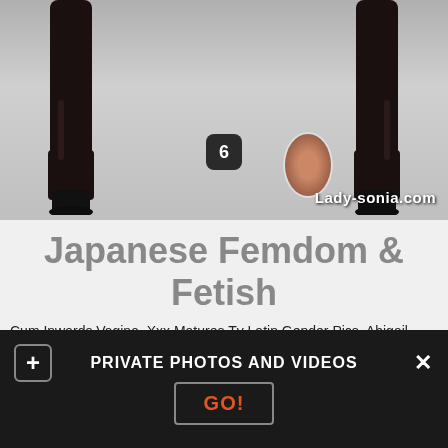[Figure (photo): Photo of a person's lower body wearing tall black leather boots, cropped at the waist. Watermark number 6 and 'Lady-sonia.com' text visible. Small oval thumbnail portrait in lower right.]
Japanese Femdom & Fetish
Cum Inwards Vagina. Xxx Matures Tv Latin Gender Pics. Abigail Mac is an extremely horny step- mom who is in dire need of a big
PRIVATE PHOTOS AND VIDEOS
GO!